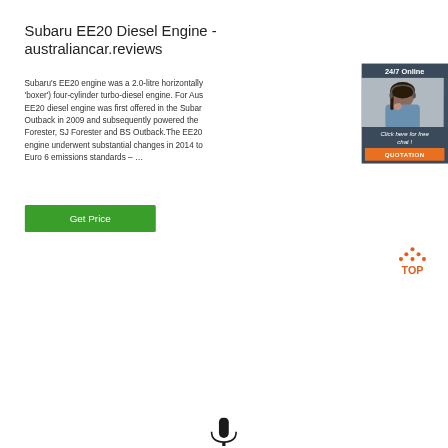Subaru EE20 Diesel Engine - australiancar.reviews
Subaru's EE20 engine was a 2.0-litre horizontally ('boxer') four-cylinder turbo-diesel engine. For Aus EE20 diesel engine was first offered in the Subar Outback in 2009 and subsequently powered the Forester, SJ Forester and BS Outback.The EE20 engine underwent substantial changes in 2014 to Euro 6 emissions standards – …
[Figure (photo): Chat widget with woman wearing headset, '24/7 Online' header, 'Click here for free chat!' text, and orange QUOTATION button on dark background]
[Figure (other): Green 'Get Price' button]
[Figure (logo): TOP button logo with orange dots forming a triangle above the word TOP]
[Figure (photo): Partial view of microphone at bottom of page]